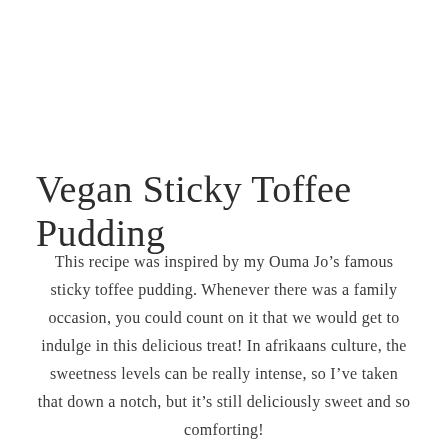Vegan Sticky Toffee Pudding
This recipe was inspired by my Ouma Jo’s famous sticky toffee pudding. Whenever there was a family occasion, you could count on it that we would get to indulge in this delicious treat! In afrikaans culture, the sweetness levels can be really intense, so I’ve taken that down a notch, but it’s still deliciously sweet and so comforting!